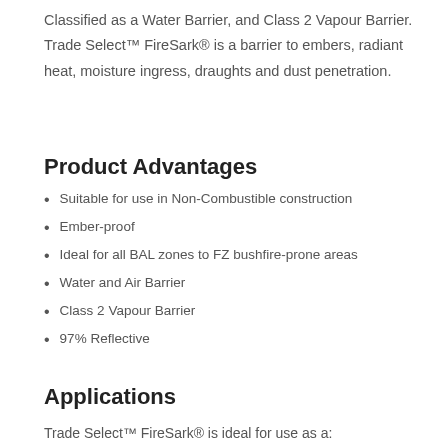Classified as a Water Barrier, and Class 2 Vapour Barrier. Trade Select™ FireSark® is a barrier to embers, radiant heat, moisture ingress, draughts and dust penetration.
Product Advantages
Suitable for use in Non-Combustible construction
Ember-proof
Ideal for all BAL zones to FZ bushfire-prone areas
Water and Air Barrier
Class 2 Vapour Barrier
97% Reflective
Applications
Trade Select™ FireSark® is ideal for use as a: